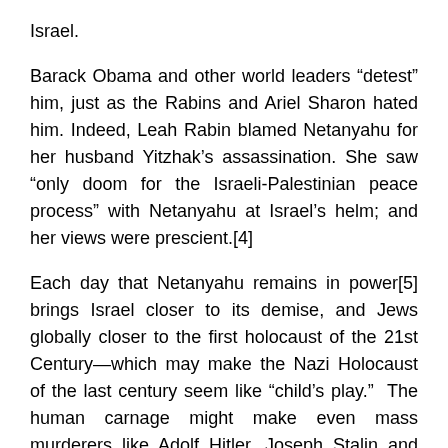Israel.
Barack Obama and other world leaders “detest” him, just as the Rabins and Ariel Sharon hated him. Indeed, Leah Rabin blamed Netanyahu for her husband Yitzhak’s assassination. She saw “only doom for the Israeli-Palestinian peace process” with Netanyahu at Israel’s helm; and her views were prescient.[4]
Each day that Netanyahu remains in power[5] brings Israel closer to its demise, and Jews globally closer to the first holocaust of the 21st Century—which may make the Nazi Holocaust of the last century seem like “child’s play.”  The human carnage might make even mass murderers like Adolf Hitler, Joseph Stalin and Mao Tse-tung wince.[6]
The massacre and mindless slaughter of Jews—and